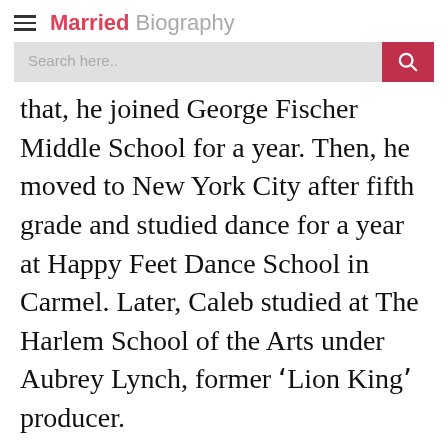Married Biography
that, he joined George Fischer Middle School for a year. Then, he moved to New York City after fifth grade and studied dance for a year at Happy Feet Dance School in Carmel. Later, Caleb studied at The Harlem School of the Arts under Aubrey Lynch, former 'Lion King' producer.
Caleb McLaughlin: Professional Life and Career
Next Bio >> William Brent